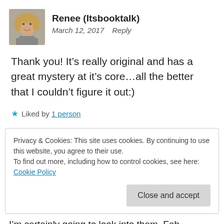[Figure (photo): Avatar photo of a woman with blonde hair wearing a grey turtleneck, smiling]
Renee (Itsbooktalk)
March 12, 2017   Reply
Thank you! It’s really original and has a great mystery at it’s core…all the better that I couldn’t figure it out:)
★ Liked by 1 person
Privacy & Cookies: This site uses cookies. By continuing to use this website, you agree to their use.
To find out more, including how to control cookies, see here: Cookie Policy
Close and accept
I’m certainly going to look into them. Fab